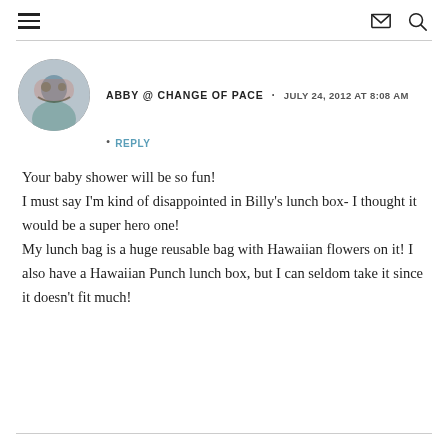Navigation menu, mail icon, search icon
ABBY @ CHANGE OF PACE · JULY 24, 2012 AT 8:08 AM
• REPLY
Your baby shower will be so fun!
I must say I'm kind of disappointed in Billy's lunch box- I thought it would be a super hero one!
My lunch bag is a huge reusable bag with Hawaiian flowers on it! I also have a Hawaiian Punch lunch box, but I can seldom take it since it doesn't fit much!